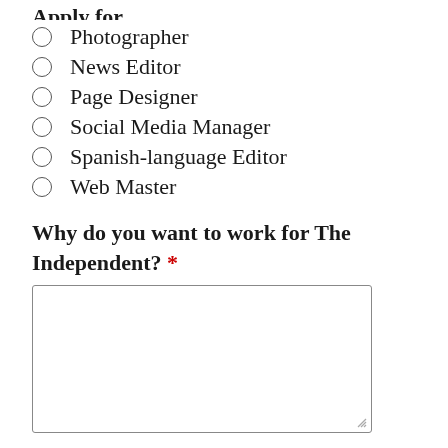Photographer
News Editor
Page Designer
Social Media Manager
Spanish-language Editor
Web Master
Why do you want to work for The Independent? *
If you are applying for any of the editor positions, please upload original work that accurately